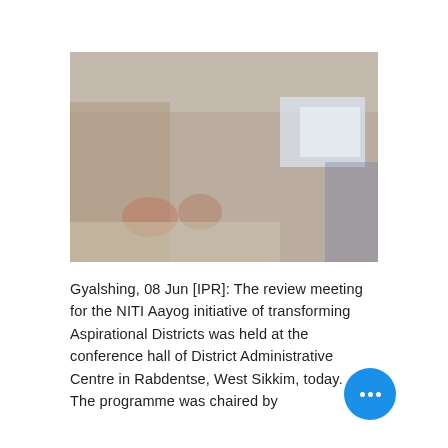[Figure (photo): A blurred photograph of a meeting room or conference hall, showing people seated and a projection screen in the background. The image appears to be a review meeting setting with warm indoor lighting.]
Gyalshing, 08 Jun [IPR]: The review meeting for the NITI Aayog initiative of transforming Aspirational Districts was held at the conference hall of District Administrative Centre in Rabdentse, West Sikkim, today.
The programme was chaired by